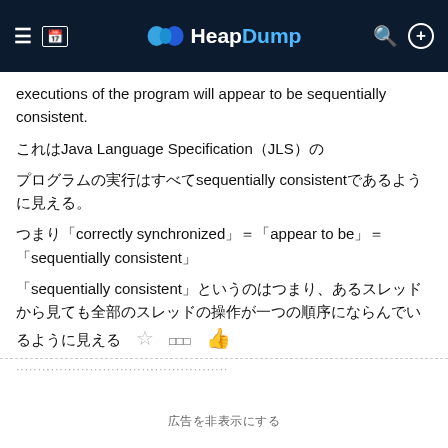HeapDump
executions of the program will appear to be sequentially consistent.
これはJava Language Specification（JLS）の
プログラムの実行はすべてsequentially consistentであるように見える。
つまり「correctly synchronized」＝「appear to be」＝「sequentially consistent」
「sequentially consistent」というのはつまり、あるスレッドから見ても全部のスレッドの操作が一つの順序にならんでいるように見える
広告を非表示にする